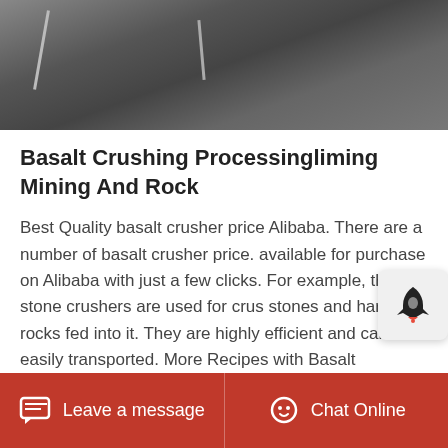[Figure (photo): Close-up photo of industrial rock crushing machinery, dark metallic surfaces]
Basalt Crushing Processingliming Mining And Rock
Best Quality basalt crusher price Alibaba. There are a number of basalt crusher price. available for purchase on Alibaba with just a few clicks. For example, the stone crushers are used for crushing stones and hard rocks fed into it. They are highly efficient and can be easily transported. More Recipes with Basalt Minecraft Data Pack. Mar 26, 2020 A very simple and useful datapack. With this datapack you will be able to craft more things using only basalt, obviously all the recipes make
Leave a message   Chat Online